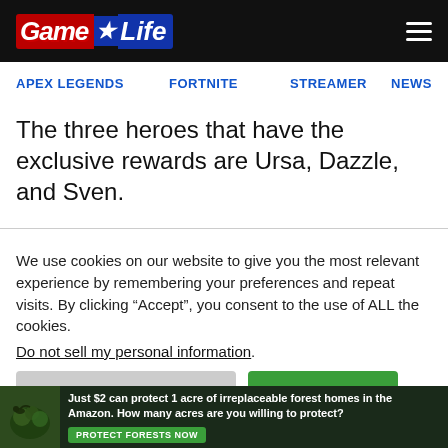Game Life
APEX LEGENDS
FORTNITE
STREAMER
NEWS
The three heroes that have the exclusive rewards are Ursa, Dazzle, and Sven.
We use cookies on our website to give you the most relevant experience by remembering your preferences and repeat visits. By clicking “Accept”, you consent to the use of ALL the cookies.
Do not sell my personal information.
[Figure (infographic): Advertisement banner: Just $2 can protect 1 acre of irreplaceable forest homes in the Amazon. How many acres are you willing to protect? PROTECT FORESTS NOW button on dark forest background.]